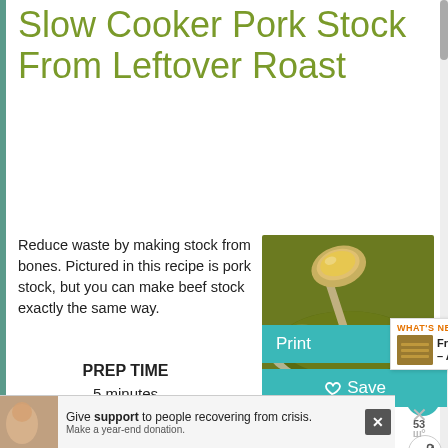Slow Cooker Pork Stock From Leftover Roast
Reduce waste by making stock from bones. Pictured in this recipe is pork stock, but you can make beef stock exactly the same way.
[Figure (photo): Bowl of dark pork stock with a spoon holding a golden-brown piece above it]
No Ratings
PREP TIME
5 minutes
Print
Save
WHAT'S NEXT → French Toast 'Chips' – A...
Give support to people recovering from crisis. Make a year-end donation.